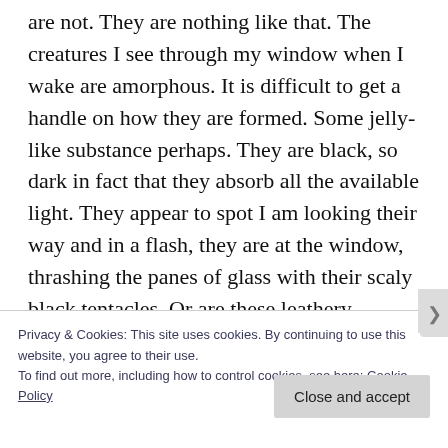are not. They are nothing like that. The creatures I see through my window when I wake are amorphous. It is difficult to get a handle on how they are formed. Some jelly-like substance perhaps. They are black, so dark in fact that they absorb all the available light. They appear to spot I am looking their way and in a flash, they are at the window, thrashing the panes of glass with their scaly black tentacles. Or are these leathery appendages, fins of some kind or wings? Whichever, these beings are clearly not from
Privacy & Cookies: This site uses cookies. By continuing to use this website, you agree to their use.
To find out more, including how to control cookies, see here: Cookie Policy
Close and accept